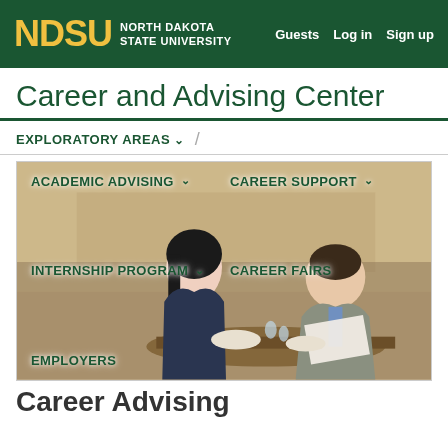NDSU North Dakota State University | Guests  Log in  Sign up
Career and Advising Center
EXPLORATORY AREAS
[Figure (photo): Two professionals sitting at a table in discussion, one woman and one man in business attire, with overlaid navigation links: Academic Advising, Career Support, Internship Program, Career Fairs, Employers]
Career Advising